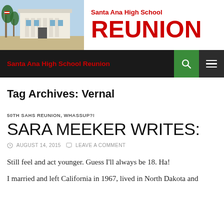[Figure (photo): Photo of Santa Ana High School building exterior with palm trees and an American flag]
Santa Ana High School REUNION
Santa Ana High School Reunion
Tag Archives: Vernal
50TH SAHS REUNION, WHASSUP?!
SARA MEEKER WRITES:
AUGUST 14, 2015   LEAVE A COMMENT
Still feel and act younger. Guess I'll always be 18. Ha!
I married and left California in 1967, lived in North Dakota and